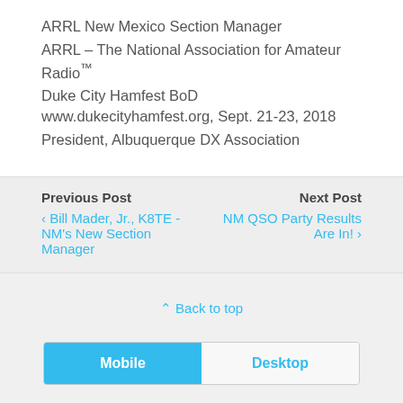ARRL New Mexico Section Manager
ARRL – The National Association for Amateur Radio™
Duke City Hamfest BoD www.dukecityhamfest.org, Sept. 21-23, 2018
President, Albuquerque DX Association
Previous Post
‹ Bill Mader, Jr., K8TE - NM's New Section Manager
Next Post
NM QSO Party Results Are In! ›
⌃ Back to top
Mobile   Desktop